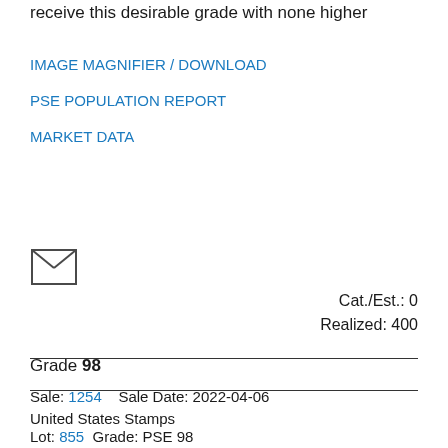receive this desirable grade with none higher
IMAGE MAGNIFIER / DOWNLOAD
PSE POPULATION REPORT
MARKET DATA
[Figure (illustration): Envelope / mail icon]
Cat./Est.: 0
Realized: 400
Grade 98
Sale: 1254    Sale Date: 2022-04-06
United States Stamps
Lot: 855   Grade: PSE 98
[Figure (photo): Close-up photograph of a red United States postage stamp with perforations visible, showing an eagle or portrait design in red on a beige background, mounted on black background]